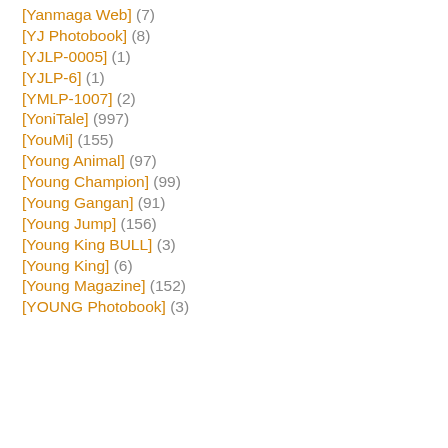[Yanmaga Web] (7)
[YJ Photobook] (8)
[YJLP-0005] (1)
[YJLP-6] (1)
[YMLP-1007] (2)
[YoniTale] (997)
[YouMi] (155)
[Young Animal] (97)
[Young Champion] (99)
[Young Gangan] (91)
[Young Jump] (156)
[Young King BULL] (3)
[Young King] (6)
[Young Magazine] (152)
[YOUNG Photobook] (3)